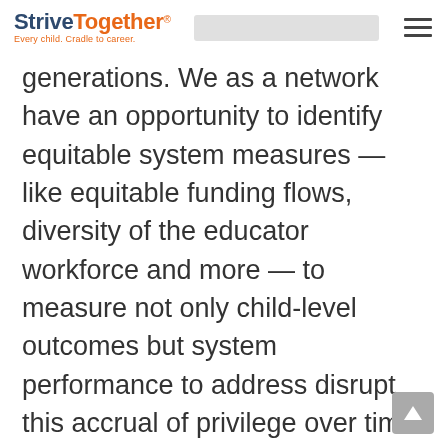StriveTogether® Every child. Cradle to career.
generations. We as a network have an opportunity to identify equitable system measures — like equitable funding flows, diversity of the educator workforce and more — to measure not only child-level outcomes but system performance to address disrupt this accrual of privilege over time.

Our work must involve elevating the human capital in the education and